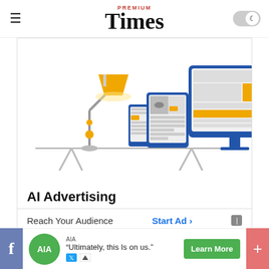Premium Times
[Figure (illustration): AI Advertising illustration showing a desk lamp, tablet, smartphone, and desktop monitor with layout mockups]
AI Advertising
Reach Your Audience   Start Ad >
“The certificate cannot be given out without the couple paying the N21,000 to the ministry,” he said.
[Figure (infographic): AIA advertisement banner: "Ultimately, this Is on us." with Learn More button]